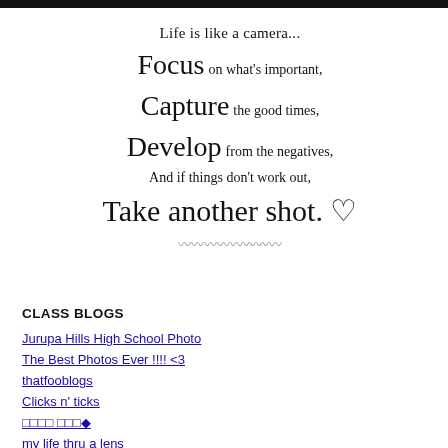[Figure (illustration): Decorative quote with mixed serif and cursive script fonts: 'Life is like a camera... Focus on what's important, Capture the good times, Develop from the negatives, And if things don't work out, Take another shot.' with a decorative heart flourish at the end.]
CLASS BLOGS
Jurupa Hills High School Photo
The Best Photos Ever !!!! <3
thatfooblogs
Clicks n' ticks
□□□□ □□□◆
my life thru a lens